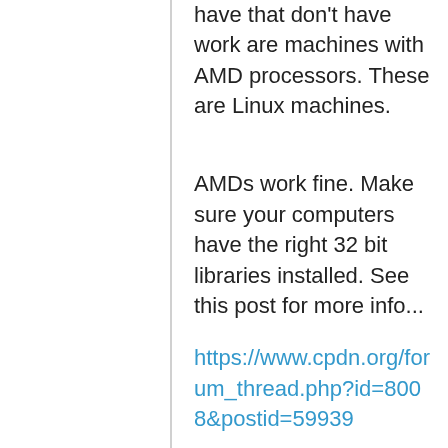have that don't have work are machines with AMD processors. These are Linux machines.
AMDs work fine. Make sure your computers have the right 32 bit libraries installed. See this post for more info...
https://www.cpdn.org/forum_thread.php?id=8008&postid=59939